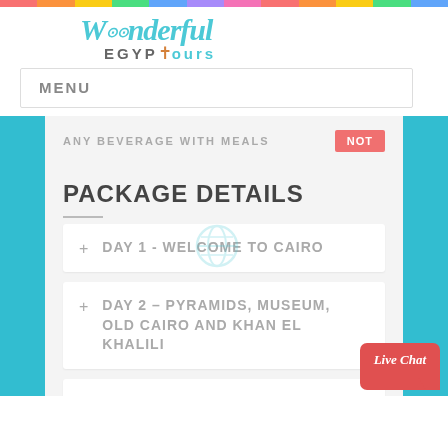[Figure (logo): Wonderful Egypt Tours logo with teal stylized text and ankh symbol]
MENU
ANY BEVERAGE WITH MEALS
NOT
PACKAGE DETAILS
+ DAY 1 - WELCOME TO CAIRO
+ DAY 2 - PYRAMIDS, MUSEUM, OLD CAIRO AND KHAN EL KHALILI
+ DAY 3 - FLY TO LUXOR - TOUR